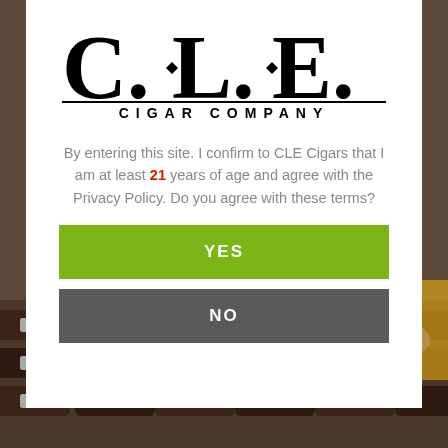[Figure (photo): Background photo of cigars being handled, dark warm tones with brown and gold cigars visible]
[Figure (logo): C.L.E. Cigar Company logo — large serif C.L.E. letters with diamond decorations, subtitle CIGAR COMPANY in spaced caps]
By entering this site. I confirm to CLE Cigars that I am at least 21 years of age and agree with the Privacy Policy. Do you agree with these terms?
YES
NO